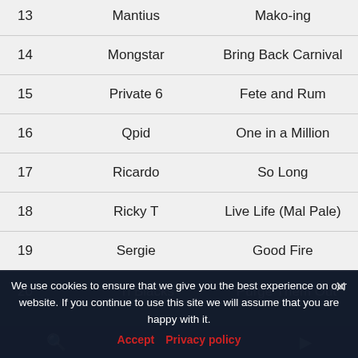| # | Artist | Song |
| --- | --- | --- |
| 13 | Mantius | Mako-ing |
| 14 | Mongstar | Bring Back Carnival |
| 15 | Private 6 | Fete and Rum |
| 16 | Qpid | One in a Million |
| 17 | Ricardo | So Long |
| 18 | Ricky T | Live Life (Mal Pale) |
| 19 | Sergie | Good Fire |
| 20 | Ti Blacks | Purge Them Out |
We use cookies to ensure that we give you the best experience on our website. If you continue to use this site we will assume that you are happy with it.
Accept  Privacy policy